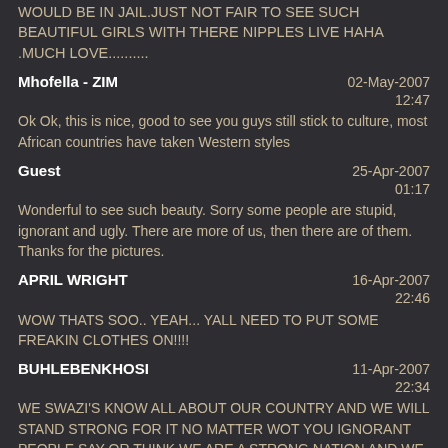WOULD BE IN JAIL.JUST NOT FAIR TO SEE SUCH BEAUTIFUL GIRLS WITH THERE NIPPLES LIVE HAHA .MUCH LOVE..........
Mhofella - ZIM
02-May-2007 12:47
Ok Ok, this is nice, good to see you guys still stick to culture, most African countries have taken Western styles
Guest
25-Apr-2007 01:17
Wonderful to see such beauty. Sorry some people are stupid, ignorant and ugly. There are more of us, then there are of them. Thanks for the pictures.
APRIL WRIGHT
16-Apr-2007 22:46
WOW THATS SOO.. YEAH... YALL NEED TO PUT SOME FREAKIN CLOTHES ON!!!!
BUHLEBENKHOSI
11-Apr-2007 22:34
WE SWAZI'S KNOW ALL ABOUT OUR COUNTRY AND WE WILL STAND STRONG FOR IT NO MATTER WOT YOU IGNORANT PEOPLE SAY OR THINK.WE ARE A STRONG NATION AND WE STAND BY OUR CUSTOMS AND CULTURES.I SPECIFICALLY ATTENDED THE REED DANCE FOR 13 YEARS,MORE THAN 8000 GIRLS ATTEND EVERY YEAR.THATS THE PRIDE OF SECURING YOURE VIGINITY UNTIL MARRIEGE AND OF COS KEEPING THE